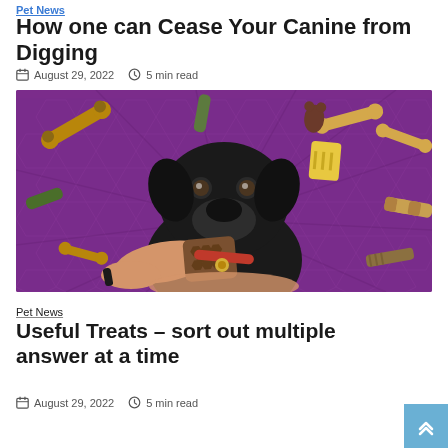Pet News
How one can Cease Your Canine from Digging
August 29, 2022  5 min read
[Figure (photo): A black dog being offered a honeycomb treat by a human hand, set against a bright purple background with various dog bones and chews floating around.]
Pet News
Useful Treats – sort out multiple answer at a time
August 29, 2022  5 min read